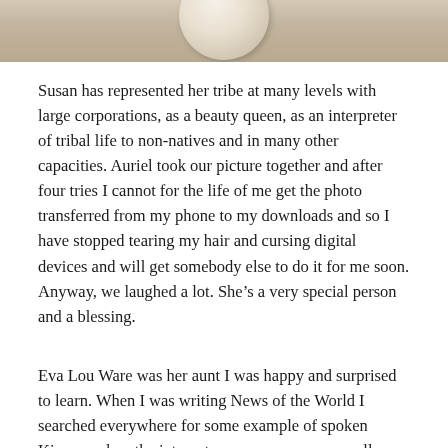[Figure (photo): Partial photo at top of page showing what appears to be a round object (possibly a ball or gourd) on a wooden surface, cropped to show only the bottom portion of the image.]
Susan has represented her tribe at many levels with large corporations, as a beauty queen, as an interpreter of tribal life to non-natives and in many other capacities. Auriel took our picture together and after four tries I cannot for the life of me get the photo transferred from my phone to my downloads and so I have stopped tearing my hair and cursing digital devices and will get somebody else to do it for me soon. Anyway, we laughed a lot. She’s a very special person and a blessing.
Eva Lou Ware was her aunt I was happy and surprised to learn. When I was writing News of the World I searched everywhere for some example of spoken Kiowa and on the internet came across some small company that sold tapes with example sentences from everywhere in the world. And as luck would have it they did one in Kiowa! By a lady named